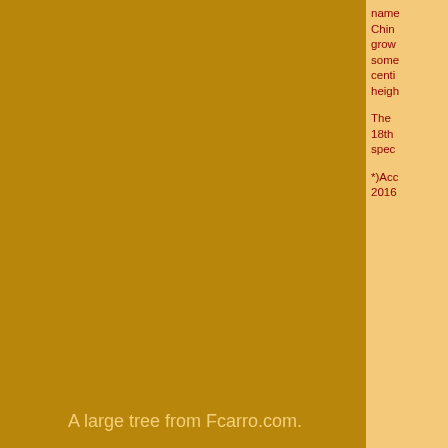name China grow some centi heigh The 18th spec *)Acc 2016
A large tree from Fcarro.com.